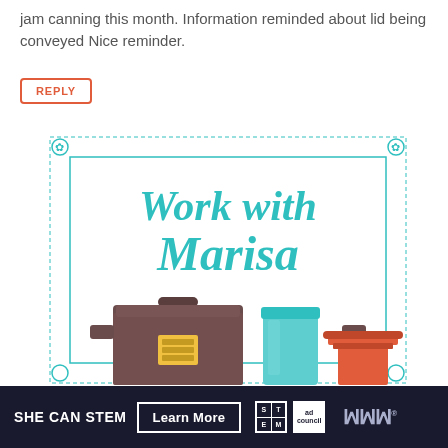jam canning this month. Information reminded about lid being conveyed Nice reminder.
REPLY
[Figure (infographic): Decorative bordered infographic card with teal script text 'Work with Marisa' and illustrated cooking/kitchen items including a large brown pot, teal jar, and red kitchen scale at the bottom.]
SHE CAN STEM  Learn More  [STEM logo] [Ad Council logo] [W logo]